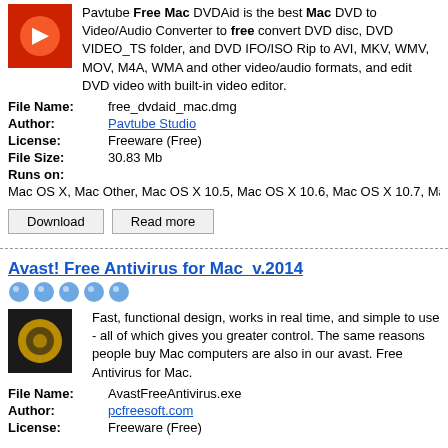Pavtube Free Mac DVDAid is the best Mac DVD to Video/Audio Converter to free convert DVD disc, DVD VIDEO_TS folder, and DVD IFO/ISO Rip to AVI, MKV, WMV, MOV, M4A, WMA and other video/audio formats, and edit DVD video with built-in video editor.
| File Name: | free_dvdaid_mac.dmg |
| Author: | Pavtube Studio |
| License: | Freeware (Free) |
| File Size: | 30.83 Mb |
| Runs on: | Mac OS X, Mac Other, Mac OS X 10.5, Mac OS X 10.6, Mac OS X 10.7, Mac OS X 10. |
Download  Read more
Avast! Free Antivirus for Mac  v.2014
Fast, functional design, works in real time, and simple to use - all of which gives you greater control. The same reasons people buy Mac computers are also in our avast. Free Antivirus for Mac.
| File Name: | AvastFreeAntivirus.exe |
| Author: | pcfreesoft.com |
| License: | Freeware (Free) |